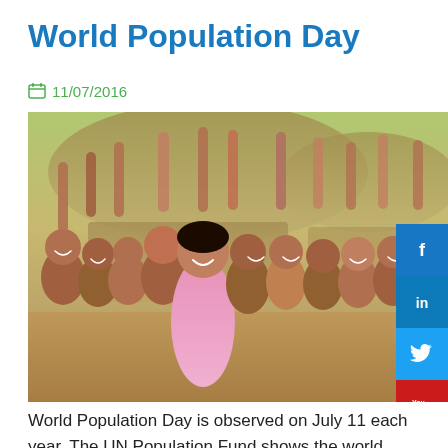World Population Day
11/07/2016
[Figure (photo): Group of smiling children with raised hands outdoors, with thatched roof huts in background, in India. Social media share buttons (Facebook, LinkedIn, Twitter, YouTube, Flickr, Instagram) on the right side.]
World Population Day is observed on July 11 each year. The UN Population Fund shows the world population at 7.3 billion in 2015 compared to 2.5 billion in 1950 with young persons (between 10 and 24 years)